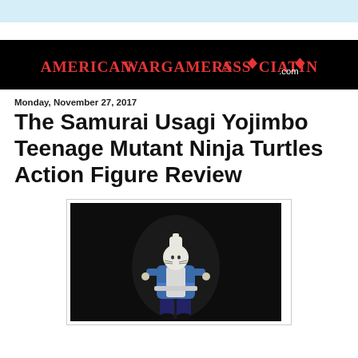[Figure (logo): American Wargamers Association .com logo — white and red serif text on black background]
Monday, November 27, 2017
The Samurai Usagi Yojimbo Teenage Mutant Ninja Turtles Action Figure Review
[Figure (photo): Photo of a Samurai Usagi Yojimbo action figure (blue outfit, white rabbit head) against a dark background]